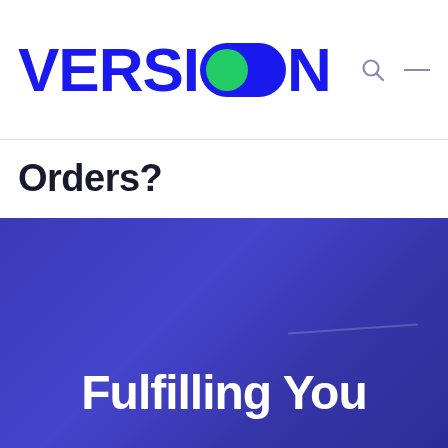[Figure (logo): VERSION ON logo with toggle switch replacing the letter O, in bold blue with green knob, plus search and menu icons in top right]
Orders?
[Figure (screenshot): Blue gradient banner section with white bold text reading 'Fulfilling You' (cropped), featuring a subtle light streak diagonal line]